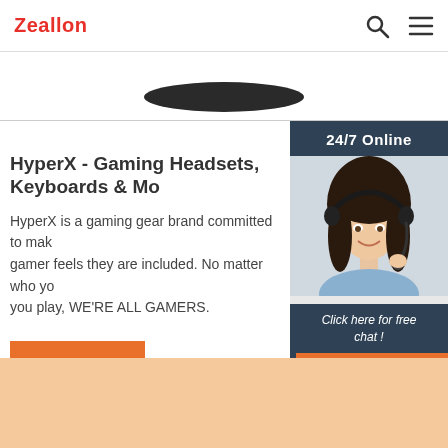Zeallon
[Figure (photo): Partial view of a dark gaming headset product image at top of page]
HyperX - Gaming Headsets, Keyboards & Mo
HyperX is a gaming gear brand committed to making every gamer feels they are included. No matter who you play, WE'RE ALL GAMERS.
[Figure (photo): 24/7 Online chat widget with photo of smiling woman wearing a headset microphone, with 'Click here for free chat!' text and QUOTATION button]
Get Price
Click here for free chat !
QUOTATION